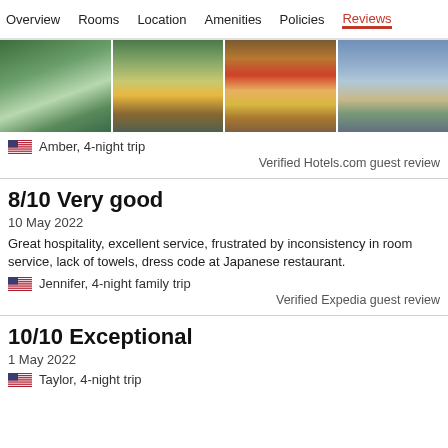Overview  Rooms  Location  Amenities  Policies  Reviews
[Figure (photo): Four travel photos of a hotel/resort: tropical water view, poolside with drink, outdoor dining with two people, scenic coastal view]
Amber, 4-night trip
Verified Hotels.com guest review
8/10 Very good
10 May 2022
Great hospitality, excellent service, frustrated by inconsistency in room service, lack of towels, dress code at Japanese restaurant.
Jennifer, 4-night family trip
Verified Expedia guest review
10/10 Exceptional
1 May 2022
Taylor, 4-night trip